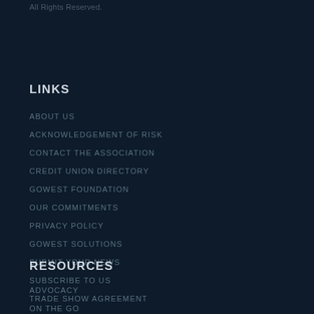All Rights Reserved.
LINKS
ABOUT US
ACKNOWLEDGEMENT OF RISK
CONTACT THE ASSOCIATION
CREDIT UNION DIRECTORY
GOWEST FOUNDATION
OUR COMMITMENTS
PRIVACY POLICY
GOWEST SOLUTIONS
SUBMIT YOUR NEWS
SUBSCRIBE TO US
TRADE SHOW AGREEMENT
RESOURCES
ADVOCACY
ON THE GO